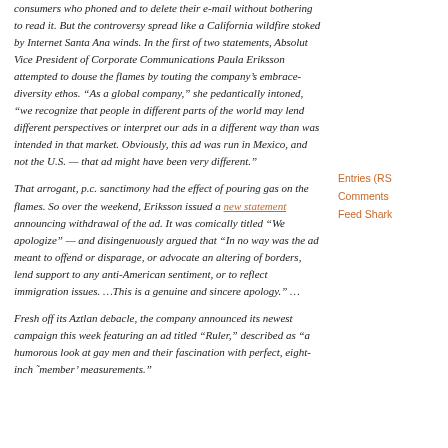consumers who phoned and to delete their e-mail without bothering to read it. But the controversy spread like a California wildfire stoked by Internet Santa Ana winds. In the first of two statements, Absolut Vice President of Corporate Communications Paula Eriksson attempted to douse the flames by touting the company’s embrace-diversity ethos. “As a global company,” she pedantically intoned, “we recognize that people in different parts of the world may lend different perspectives or interpret our ads in a different way than was intended in that market. Obviously, this ad was run in Mexico, and not the U.S. — that ad might have been very different.”
That arrogant, p.c. sanctimony had the effect of pouring gas on the flames. So over the weekend, Eriksson issued a new statement announcing withdrawal of the ad. It was comically titled “We apologize” — and disingenuously argued that “In no way was the ad meant to offend or disparage, or advocate an altering of borders, lend support to any anti-American sentiment, or to reflect immigration issues. …This is a genuine and sincere apology.” …
Fresh off its Aztlan debacle, the company announced its newest campaign this week featuring an ad titled “Ruler,” described as “a humorous look at gay men and their fascination with perfect, eight-inch ˜member’ measurements.”
Entries (RS  Comments  Feed Shark